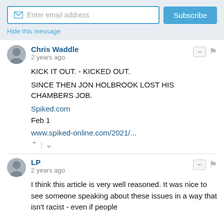[Figure (screenshot): Email subscription bar with input field 'Enter email address' and 'Subscribe' button, plus 'Hide this message' link]
Chris Waddle
2 years ago
KICK IT OUT. - KICKED OUT.

SINCE THEN JON HOLBROOK LOST HIS CHAMBERS JOB.

Spiked.com
Feb 1

www.spiked-online.com/2021/...
LP
2 years ago
I think this article is very well reasoned. It was nice to see someone speaking about these issues in a way that isn't racist - even if people